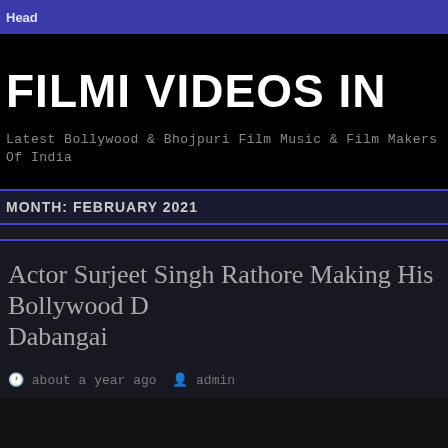Head
FILMI VIDEOS IN
Latest Bollywood & Bhojpuri Film Music & Film Makers Of India
MONTH: FEBRUARY 2021
Actor Surjeet Singh Rathore Making His Bollywood Debut Dabangai
about a year ago  admin